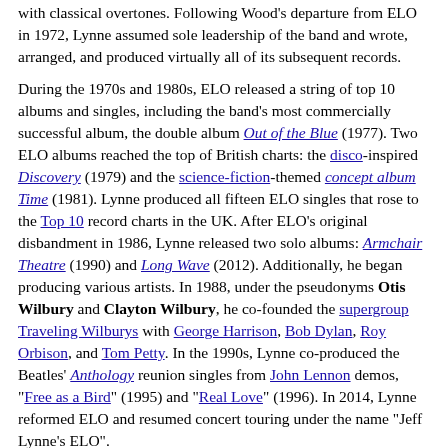with classical overtones. Following Wood's departure from ELO in 1972, Lynne assumed sole leadership of the band and wrote, arranged, and produced virtually all of its subsequent records.
During the 1970s and 1980s, ELO released a string of top 10 albums and singles, including the band's most commercially successful album, the double album Out of the Blue (1977). Two ELO albums reached the top of British charts: the disco-inspired Discovery (1979) and the science-fiction-themed concept album Time (1981). Lynne produced all fifteen ELO singles that rose to the Top 10 record charts in the UK. After ELO's original disbandment in 1986, Lynne released two solo albums: Armchair Theatre (1990) and Long Wave (2012). Additionally, he began producing various artists. In 1988, under the pseudonyms Otis Wilbury and Clayton Wilbury, he co-founded the supergroup Traveling Wilburys with George Harrison, Bob Dylan, Roy Orbison, and Tom Petty. In the 1990s, Lynne co-produced the Beatles' Anthology reunion singles from John Lennon demos, "Free as a Bird" (1995) and "Real Love" (1996). In 2014, Lynne reformed ELO and resumed concert touring under the name "Jeff Lynne's ELO".
Outside of ELO, Lynne's producing credits include the UK or US Top 10 albums Cloud Nine (Harrison, 1987), Mystery Girl (Orbison, 1989), Full Moon Fever (Petty, 1989), Into the Great Wide Open (Tom Petty and the Heartbreakers, 1991), Flaming Pie